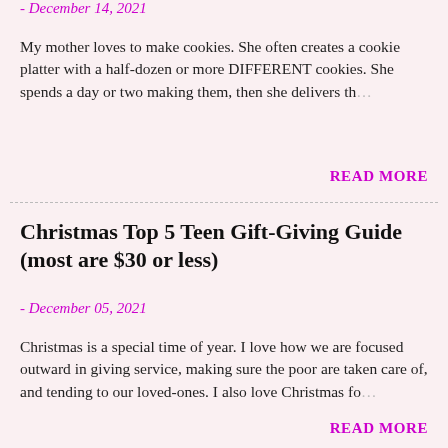- December 14, 2021
My mother loves to make cookies. She often creates a cookie platter with a half-dozen or more DIFFERENT cookies. She spends a day or two making them, then she delivers th…
READ MORE
Christmas Top 5 Teen Gift-Giving Guide (most are $30 or less)
- December 05, 2021
Christmas is a special time of year. I love how we are focused outward in giving service, making sure the poor are taken care of, and tending to our loved-ones. I also love Christmas fo…
READ MORE